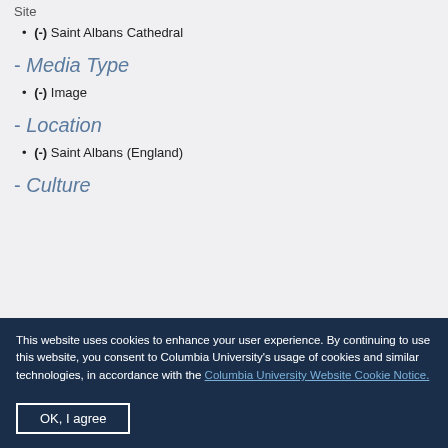Site
(-) Saint Albans Cathedral
- Media Type
(-) Image
- Location
(-) Saint Albans (England)
- Culture
This website uses cookies to enhance your user experience. By continuing to use this website, you consent to Columbia University's usage of cookies and similar technologies, in accordance with the Columbia University Website Cookie Notice.
OK, I agree